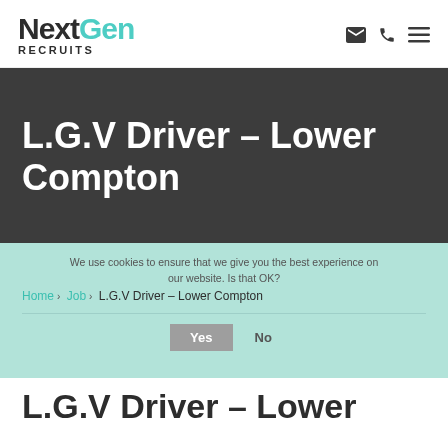[Figure (logo): NextGen Recruits logo with teal colored Gen text]
L.G.V Driver – Lower Compton
Home › Job › L.G.V Driver – Lower Compton
We use cookies to ensure that we give you the best experience on our website. Is that OK?
Yes  No
L.G.V Driver – Lower